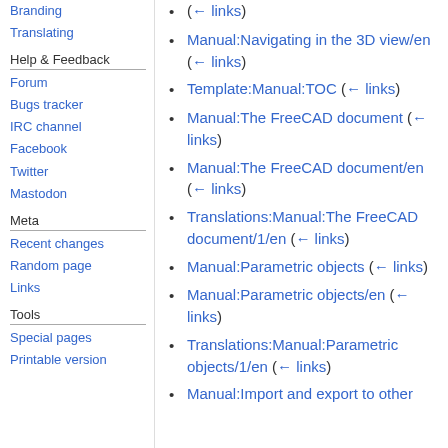Branding
Translating
Help & Feedback
Forum
Bugs tracker
IRC channel
Facebook
Twitter
Mastodon
Meta
Recent changes
Random page
Links
Tools
Special pages
Printable version
(← links)
Manual:Navigating in the 3D view/en  (← links)
Template:Manual:TOC  (← links)
Manual:The FreeCAD document  (← links)
Manual:The FreeCAD document/en  (← links)
Translations:Manual:The FreeCAD document/1/en  (← links)
Manual:Parametric objects  (← links)
Manual:Parametric objects/en  (← links)
Translations:Manual:Parametric objects/1/en  (← links)
Manual:Import and export to other formats (← links)